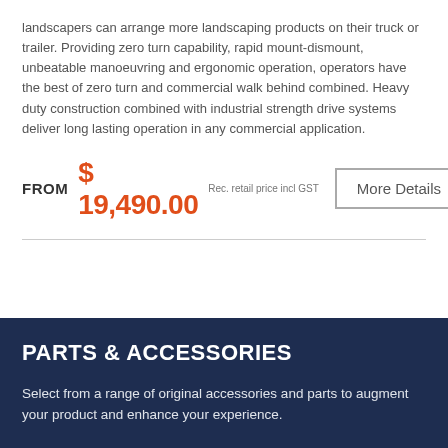landscapers can arrange more landscaping products on their truck or trailer. Providing zero turn capability, rapid mount-dismount, unbeatable manoeuvring and ergonomic operation, operators have the best of zero turn and commercial walk behind combined. Heavy duty construction combined with industrial strength drive systems deliver long lasting operation in any commercial application.
FROM $ 19,490.00 Rec. retail price incl GST
More Details
PARTS & ACCESSORIES
Select from a range of original accessories and parts to augment your product and enhance your experience.